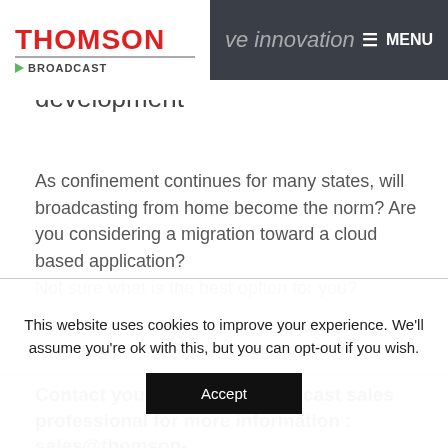THOMSON BROADCAST — ve innovation through... development — MENU
development
As confinement continues for many states, will broadcasting from home become the norm? Are you considering a migration toward a cloud based application? Not sure what is the best option for you?
Contact your Thomson Broadcast sales professional for more information : sales@thomson-
This website uses cookies to improve your experience. We'll assume you're ok with this, but you can opt-out if you wish. Accept